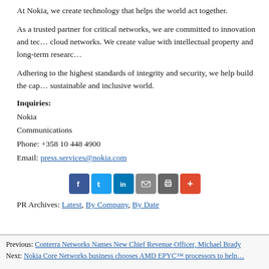At Nokia, we create technology that helps the world act together.
As a trusted partner for critical networks, we are committed to innovation and technology leadership across mobile, fixed and cloud networks. We create value with intellectual property and long-term research, led by the award-winning Nokia Bell Labs.
Adhering to the highest standards of integrity and security, we help build the capabilities needed for a more productive, sustainable and inclusive world.
Inquiries:
Nokia
Communications
Phone: +358 10 448 4900
Email: press.services@nokia.com
[Figure (infographic): Social sharing buttons: Facebook, Twitter, LinkedIn, Email, Print, More]
PR Archives: Latest, By Company, By Date
Previous: Conterra Networks Names New Chief Revenue Officer, Michael Brady
Next: Nokia Core Networks business chooses AMD EPYC™ processors to help...